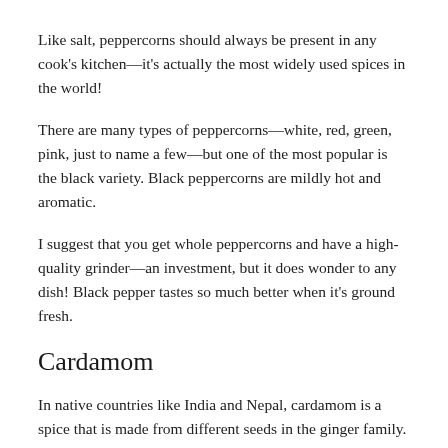Like salt, peppercorns should always be present in any cook's kitchen—it's actually the most widely used spices in the world!
There are many types of peppercorns—white, red, green, pink, just to name a few—but one of the most popular is the black variety. Black peppercorns are mildly hot and aromatic.
I suggest that you get whole peppercorns and have a high-quality grinder—an investment, but it does wonder to any dish! Black pepper tastes so much better when it's ground fresh.
Cardamom
In native countries like India and Nepal, cardamom is a spice that is made from different seeds in the ginger family.
Cardamom flavors are very unique. Often used in Indian